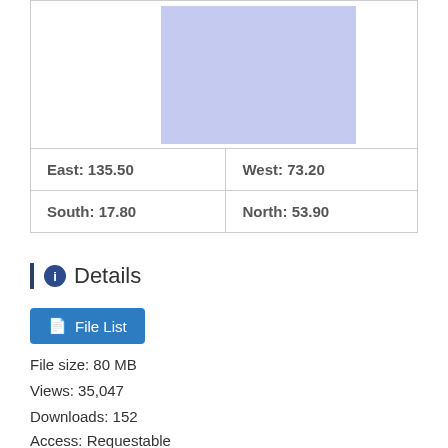[Figure (map): Geographic bounding box map showing a blue-shaded rectangular region representing spatial extent]
| East: 135.50 | West: 73.20 |
| South: 17.80 | North: 53.90 |
Details
File List
File size: 80 MB
Views: 35,047
Downloads: 152
Access: Requestable
Updated time: 2021-04-19